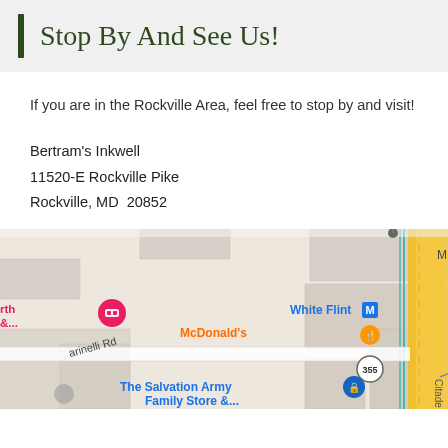Stop By And See Us!
If you are in the Rockville Area, feel free to stop by and visit!
Bertram's Inkwell
11520-E Rockville Pike
Rockville, MD  20852
[Figure (map): Google Maps screenshot showing the area around 11520-E Rockville Pike, Rockville MD. Visible landmarks include White Flint Metro station, US Nuclear Regulatory Commission, McDonald's, The Salvation Army Family Store, route 355 marker, and Marinelli Rd.]